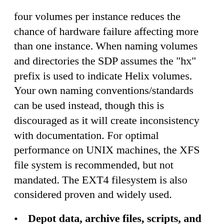four volumes per instance reduces the chance of hardware failure affecting more than one instance. When naming volumes and directories the SDP assumes the "hx" prefix is used to indicate Helix volumes. Your own naming conventions/standards can be used instead, though this is discouraged as it will create inconsistency with documentation. For optimal performance on UNIX machines, the XFS file system is recommended, but not mandated. The EXT4 filesystem is also considered proven and widely used.
Depot data, archive files, scripts, and checkpoints: Use a large volume, with RAID 6 on its own controller with a standard amount of cache or a SAN or NAS volume (NFS access is fine).